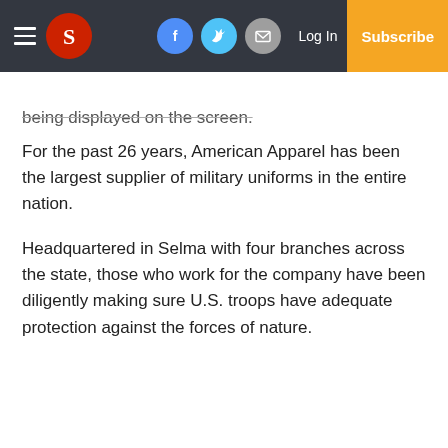S — Log In — Subscribe
being displayed on the screen.
For the past 26 years, American Apparel has been the largest supplier of military uniforms in the entire nation.
Headquartered in Selma with four branches across the state, those who work for the company have been diligently making sure U.S. troops have adequate protection against the forces of nature.